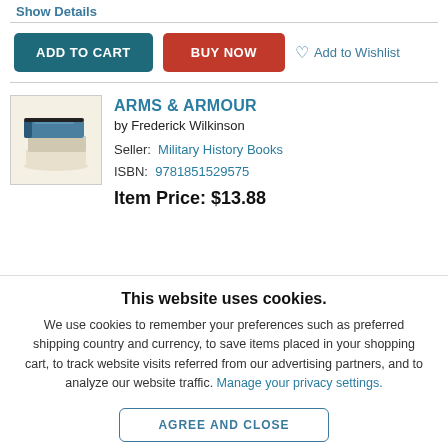Show Details
ADD TO CART | BUY NOW | Add to Wishlist
[Figure (illustration): Book icon illustration showing a stack of books with a dark blue cover on a cream/beige background]
ARMS & ARMOUR
by Frederick Wilkinson
Seller: Military History Books
ISBN: 9781851529575
Item Price: $13.88
This website uses cookies.
We use cookies to remember your preferences such as preferred shipping country and currency, to save items placed in your shopping cart, to track website visits referred from our advertising partners, and to analyze our website traffic. Manage your privacy settings.
AGREE AND CLOSE